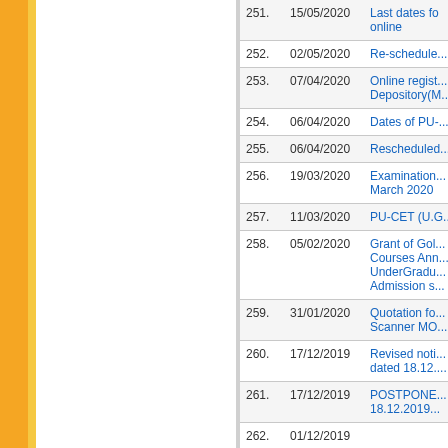| No. | Date | Title |
| --- | --- | --- |
| 251. | 15/05/2020 | Last dates fo... online |
| 252. | 02/05/2020 | Re-schedule... |
| 253. | 07/04/2020 | Online regist... Depository(M... |
| 254. | 06/04/2020 | Dates of PU-... |
| 255. | 06/04/2020 | Rescheduled... |
| 256. | 19/03/2020 | Examination... March 2020 |
| 257. | 11/03/2020 | PU-CET (U.G... |
| 258. | 05/02/2020 | Grant of Gol... Courses Ann... UnderGradu... Admission s... |
| 259. | 31/01/2020 | Quotation fo... Scanner MO... |
| 260. | 17/12/2019 | Revised noti... dated 18.12.... |
| 261. | 17/12/2019 | POSTPONE... 18.12.2019... |
| 262. | 01/12/2019 | ... |